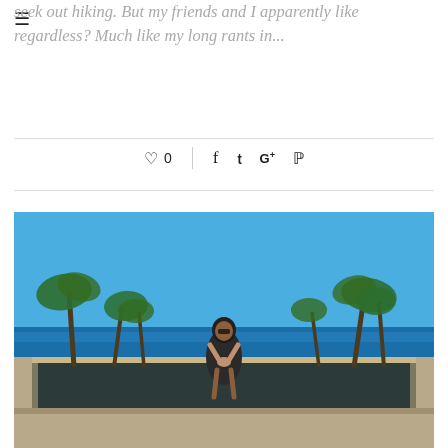☰
seek out hiking. But my friends and I apparently like regardless? Much like my long rants in…
♡ 0  |  f  𝐭  G+  ℗
[Figure (photo): A woman in a dark off-shoulder dress stands in a prayer pose at an infinity pool. Behind her are palm trees, the ocean, and a clear blue sky — a tropical resort setting.]